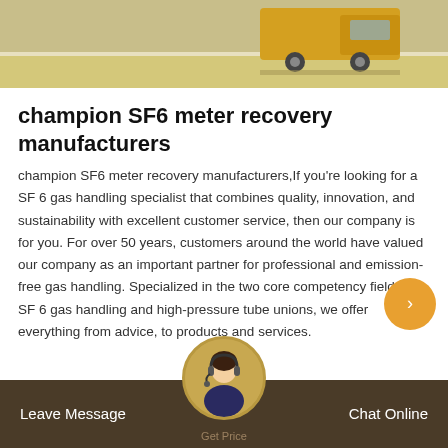[Figure (photo): Aerial or ground-level photo of a yellow construction vehicle/truck on a road or pavement surface]
champion SF6 meter recovery manufacturers
champion SF6 meter recovery manufacturers,If you're looking for a SF 6 gas handling specialist that combines quality, innovation, and sustainability with excellent customer service, then our company is for you. For over 50 years, customers around the world have valued our company as an important partner for professional and emission-free gas handling. Specialized in the two core competency fields of SF 6 gas handling and high-pressure tube unions, we offer everything from advice, to products and services.
Leave Message   Get Price   Chat Online